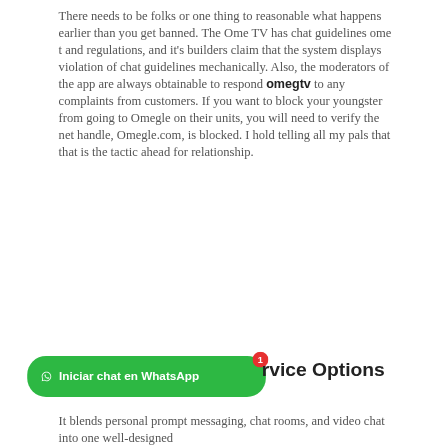There needs to be folks or one thing to reasonable what happens earlier than you get banned. The Ome TV has chat guidelines ome t and regulations, and it's builders claim that the system displays violation of chat guidelines mechanically. Also, the moderators of the app are always obtainable to respond omegtv to any complaints from customers. If you want to block your youngster from going to Omegle on their units, you will need to verify the net handle, Omegle.com, is blocked. I hold telling all my pals that that is the tactic ahead for relationship.
[Figure (other): Green WhatsApp button with WhatsApp icon reading 'Iniciar chat en WhatsApp' with a red notification badge showing '1', overlapping with bold text 'rvice Options']
It blends personal prompt messaging, chat rooms, and video chat into one well-designed